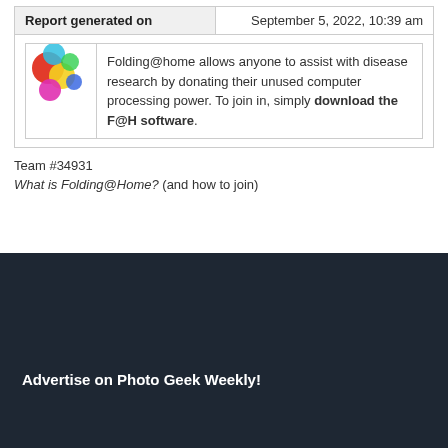| Report generated on | September 5, 2022, 10:39 am |
| --- | --- |
Folding@home allows anyone to assist with disease research by donating their unused computer processing power. To join in, simply download the F@H software.
Team #34931
What is Folding@Home? (and how to join)
Advertise on Photo Geek Weekly!